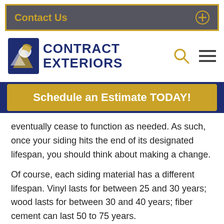Contact Us
[Figure (logo): Contract Exteriors logo with a bird/house graphic and bold navy text reading CONTRACT EXTERIORS]
Schedule an Estimate TODAY!
eventually cease to function as needed. As such, once your siding hits the end of its designated lifespan, you should think about making a change.
Of course, each siding material has a different lifespan. Vinyl lasts for between 25 and 30 years; wood lasts for between 30 and 40 years; fiber cement can last 50 to 75 years.